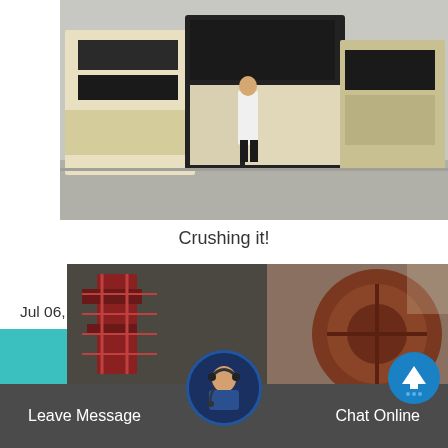[Figure (photo): Industrial crushers/screening equipment with a man standing in front, large yellow-and-black heavy machinery]
Crushing it!
Jul 06, 2021 Looking at the crusher market future, Madhavan sums it up, “Even though there is a huge requirement for aggregates and in turn crushers and.
[Figure (photo): Industrial factory/machinery interior, partial view at the bottom of the page]
Leave Message   Chat Online